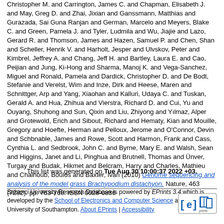Christopher M. and Carrington, James C. and Chapman, Elisabeth J. and May, Greg D. and Zhai, Jixian and Ganssmann, Matthias and Gurazada, Sai Guna Ranjan and German, Marcelo and Meyers, Blake C. and Green, Pamela J. and Tyler, Ludmila and Wu, Jiajie and Lazo, Gerard R. and Thomson, James and Hazen, Samuel P. and Chen, Shan and Scheller, Henrik V. and Harholt, Jesper and Ulvskov, Peter and Kimbrel, Jeffrey A. and Chang, Jeff H. and Bartley, Laura E. and Cao, Peijian and Jung, Ki-Hong and Sharma, Manoj K. and Vega-Sanchez, Miguel and Ronald, Pamela and Dardick, Christopher D. and De Bodt, Stefanie and Verelst, Wim and Inze, Dirk and Heese, Maren and Schnittger, Arp and Yang, Xiaohan and Kalluri, Udaya C. and Tuskan, Gerald A. and Hua, Zhihua and Vierstra, Richard D. and Cui, Yu and Ouyang, Shuhong and Sun, Qixin and Liu, Zhiyong and Yılmaz, Alper and Grotewold, Erich and Sibout, Richard and Hematy, Kian and Mouille, Gregory and Hoefte, Herman and Pelloux, Jerome and O'Connor, Devin and Schbnable, James and Rowe, Scott and Harmon, Frank and Cass, Cynthia L. and Sedbrook, John C. and Byrne, Mary E. and Walsh, Sean and Higgins, Janet and Li, Pinghua and Brutnell, Thomas and Ünver, Turgay and Budak, Hikmet and Belcram, Harry and Charles, Mathieu and Chalhoub, Boulos and Baxter, Ivan (2010) Genome sequencing and analysis of the model grass Brachypodium distachyon. Nature, 463 (7282). pp. 763-768. ISSN 0028-0836
This list was generated on Tue Aug 30 10:00:37 2022 +03.
Sabanci University Research Database is powered by EPrints 3.4 which is developed by the School of Electronics and Computer Science at the University of Southampton. About EPrints | Accessibility